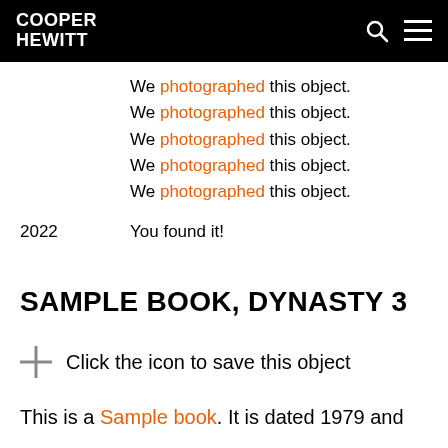COOPER HEWITT
We photographed this object.
We photographed this object.
We photographed this object.
We photographed this object.
We photographed this object.
2022   You found it!
SAMPLE BOOK, DYNASTY 3
Click the icon to save this object
This is a Sample book. It is dated 1979 and